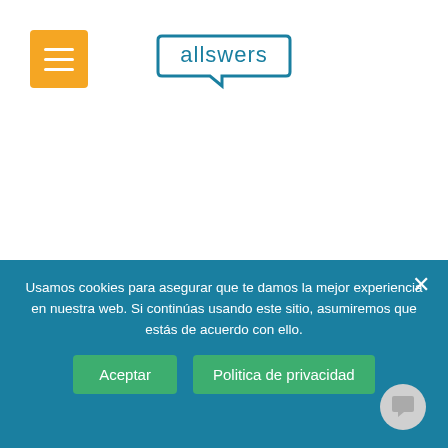allswers
of your employees through the eNPS indicator, www.allswers.com can help you by automating this metric CONSULT US HERE.
Leave a Reply
Your email address will not be published. Required fields are marked *
Usamos cookies para asegurar que te damos la mejor experiencia en nuestra web. Si continúas usando este sitio, asumiremos que estás de acuerdo con ello.
Aceptar | Politica de privacidad